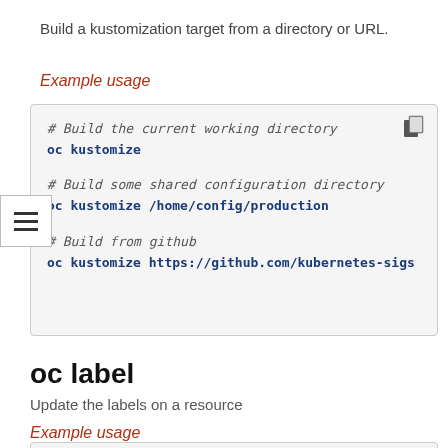Build a kustomization target from a directory or URL.
Example usage
[Figure (screenshot): Code block showing oc kustomize example commands: build current working directory, build shared config directory, build from github URL]
oc label
Update the labels on a resource
Example usage